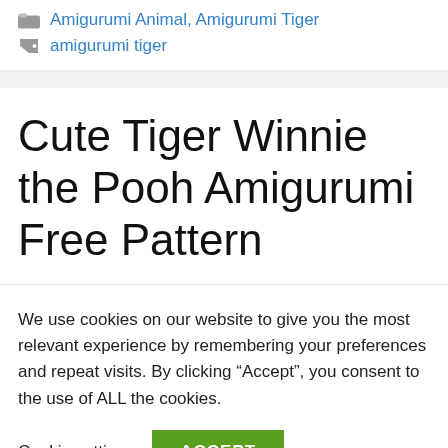Amigurumi Animal, Amigurumi Tiger
amigurumi tiger
Cute Tiger Winnie the Pooh Amigurumi Free Pattern
We use cookies on our website to give you the most relevant experience by remembering your preferences and repeat visits. By clicking “Accept”, you consent to the use of ALL the cookies.
Cookie settings | ACCEPT